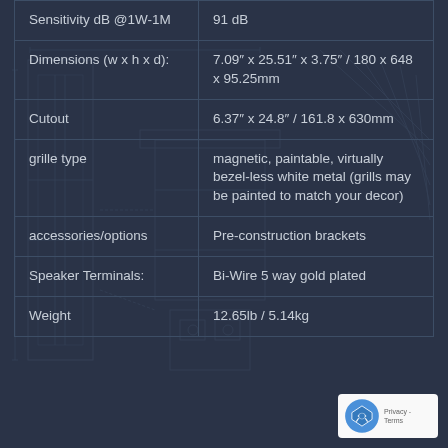| Specification | Value |
| --- | --- |
| Sensitivity  dB @1W-1M | 91 dB |
| Dimensions (w x h x d): | 7.09" x 25.51" x 3.75" / 180 x 648 x 95.25mm |
| Cutout | 6.37" x 24.8" / 161.8 x 630mm |
| grille type | magnetic, paintable, virtually bezel-less white metal (grills may be painted to match your decor) |
| accessories/options | Pre-construction brackets |
| Speaker Terminals: | Bi-Wire 5 way gold plated |
| Weight | 12.65lb / 5.14kg |
[Figure (engineering-diagram): Background engineering schematic/technical drawing of a speaker/bracket assembly, shown as faint blue lines on dark background]